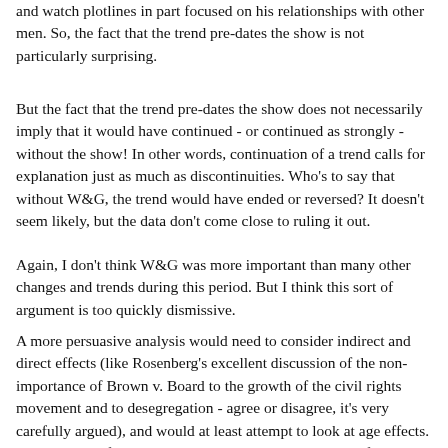and watch plotlines in part focused on his relationships with other men. So, the fact that the trend pre-dates the show is not particularly surprising.
But the fact that the trend pre-dates the show does not necessarily imply that it would have continued - or continued as strongly - without the show! In other words, continuation of a trend calls for explanation just as much as discontinuities. Who's to say that without W&G, the trend would have ended or reversed? It doesn't seem likely, but the data don't come close to ruling it out.
Again, I don't think W&G was more important than many other changes and trends during this period. But I think this sort of argument is too quickly dismissive.
A more persuasive analysis would need to consider indirect and direct effects (like Rosenberg's excellent discussion of the non-importance of Brown v. Board to the growth of the civil rights movement and to desegregation - agree or disagree, it's very carefully argued), and would at least attempt to look at age effects. For example, if the GSS data show a spike immediately following the show's